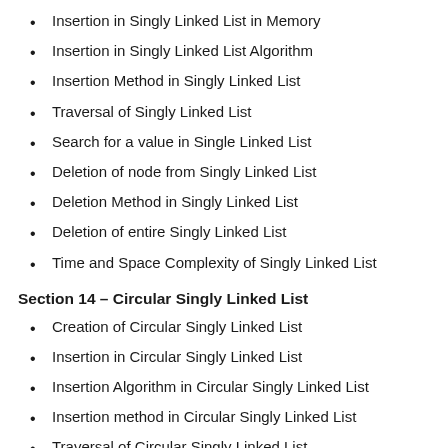Insertion in Singly Linked List in Memory
Insertion in Singly Linked List Algorithm
Insertion Method in Singly Linked List
Traversal of Singly Linked List
Search for a value in Single Linked List
Deletion of node from Singly Linked List
Deletion Method in Singly Linked List
Deletion of entire Singly Linked List
Time and Space Complexity of Singly Linked List
Section 14 – Circular Singly Linked List
Creation of Circular Singly Linked List
Insertion in Circular Singly Linked List
Insertion Algorithm in Circular Singly Linked List
Insertion method in Circular Singly Linked List
Traversal of Circular Singly Linked List